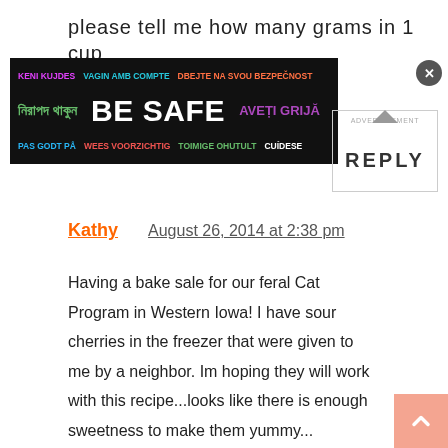please tell me how many grams in 1 cup
[Figure (infographic): Dark banner ad with multilingual 'BE SAFE' message in various colors and languages including Keni Kujdes, Vagin Amb Compte, Dbejte Na Svou Bezpecnost, Nirapod Thakun, BE SAFE, Aveti Grija, Pas Godt Pa, Wees Voorzichtig, Toimige Ohutult, Cuidese]
REPLY
Kathy
August 26, 2014 at 2:38 pm
Having a bake sale for our feral Cat Program in Western Iowa! I have sour cherries in the freezer that were given to me by a neighbor. Im hoping they will work with this recipe...looks like there is enough sweetness to make them yummy...